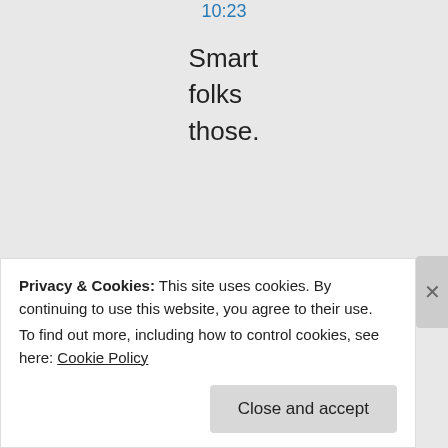10:23
Smart folks those.
★ Like
↳ Reply
m a k
Privacy & Cookies: This site uses cookies. By continuing to use this website, you agree to their use.
To find out more, including how to control cookies, see here: Cookie Policy
Close and accept